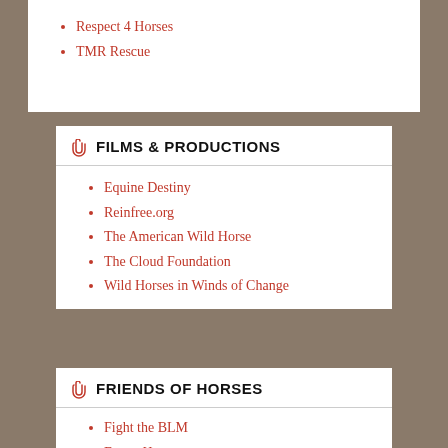Respect 4 Horses
TMR Rescue
FILMS & PRODUCTIONS
Equine Destiny
Reinfree.org
The American Wild Horse
The Cloud Foundation
Wild Horses in Winds of Change
FRIENDS OF HORSES
Fight the BLM
Forest Horse
Help Wild Horses
Holly Hill Transport
Karibaskets
Lee Mitchelson Fine Art